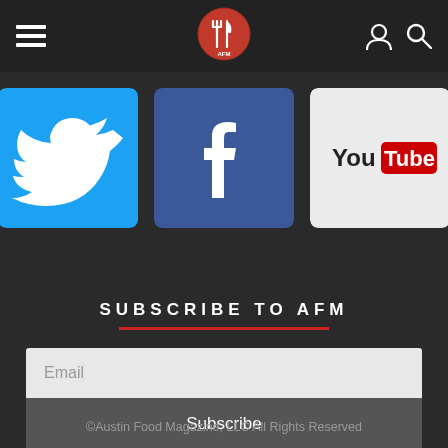Austin Food Mag — navigation header with hamburger menu, logo, user icon, search icon
[Figure (logo): Twitter social media icon — blue square with white bird logo]
[Figure (logo): Facebook social media icon — dark blue square with white 'f' logo]
[Figure (logo): YouTube social media icon — white/light square with YouTube logo in red and black]
SUBSCRIBE TO AFM
Email
Subscribe
©Austin Food Magazine, LLC All Rights Reserved